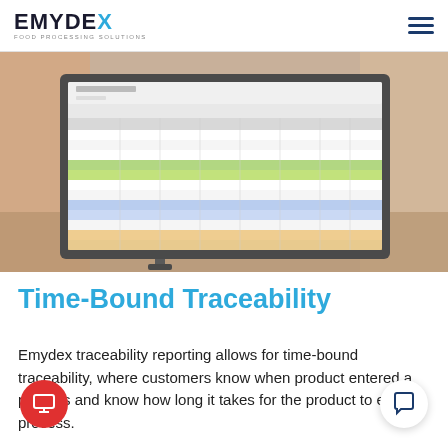EMYDEX — FOOD PROCESSING SOLUTIONS
[Figure (screenshot): A computer monitor displaying a food processing traceability software spreadsheet with colorful highlighted rows (green, blue, orange) showing product tracking data.]
Time-Bound Traceability
Emydex traceability reporting allows for time-bound traceability, where customers know when product entered a process and know how long it takes for the product to exit the process.